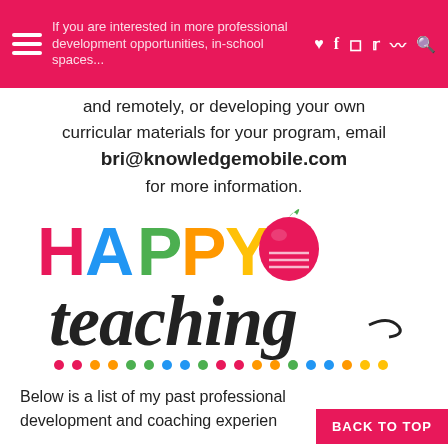If you are interested in more professional development opportunities, in-school spaces, and remotely, or developing your own curricular materials for your program, email bri@knowledgemobile.com for more information.
and remotely, or developing your own curricular materials for your program, email bri@knowledgemobile.com for more information.
[Figure (logo): Happy Teaching logo with colorful letters HAPPY in pink, blue, green, orange, yellow colors, an apple with a pencil replacing the O in Teaching, and the word 'teaching' in black cursive script. A row of colorful dots at the bottom.]
Below is a list of my past professional development and coaching experien
BACK TO TOP